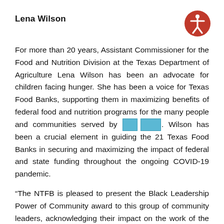Lena Wilson
[Figure (illustration): Accessibility icon: red circle with white stylized figure of a person with arms outstretched, representing accessibility]
For more than 20 years, Assistant Commissioner for the Food and Nutrition Division at the Texas Department of Agriculture Lena Wilson has been an advocate for children facing hunger. She has been a voice for Texas Food Banks, supporting them in maximizing benefits of federal food and nutrition programs for the many people and communities served by [REDACTED]. Wilson has been a crucial element in guiding the 21 Texas Food Banks in securing and maximizing the impact of federal and state funding throughout the ongoing COVID-19 pandemic.
“The NTFB is pleased to present the Black Leadership Power of Community award to this group of community leaders, acknowledging their impact on the work of the North Texas Food Bank